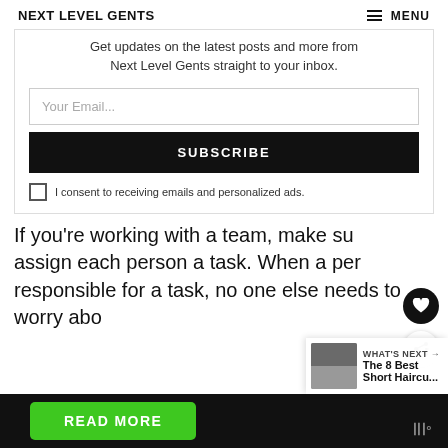NEXT LEVEL GENTS   ≡ MENU
Get updates on the latest posts and more from Next Level Gents straight to your inbox.
Your Email...
SUBSCRIBE
I consent to receiving emails and personalized ads.
If you're working with a team, make sure you assign each person a task. When a person is responsible for a task, no one else needs to worry abo… …instead.
WHAT'S NEXT → The 8 Best Short Haircu...
READ MORE